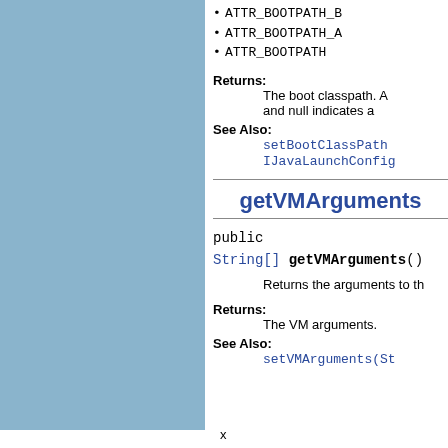ATTR_BOOTPATH_B
ATTR_BOOTPATH_A
ATTR_BOOTPATH
Returns: The boot classpath. A and null indicates a
See Also: setBootClassPath
IJavaLaunchConfig
getVMArguments
public
String[] getVMArguments()
Returns the arguments to th
Returns: The VM arguments.
See Also: setVMArguments(St
x